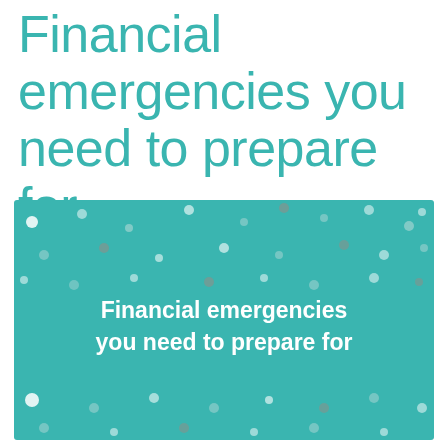Financial emergencies you need to prepare for
[Figure (illustration): Teal rectangle with white and grey polka dots scattered across the background. Bold white text in the center reads: Financial emergencies you need to prepare for]